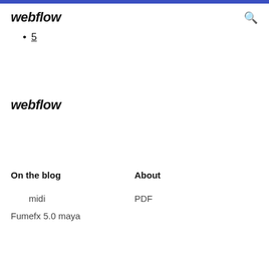webflow
5
webflow
On the blog
About
midi
PDF
Fumefx 5.0 maya